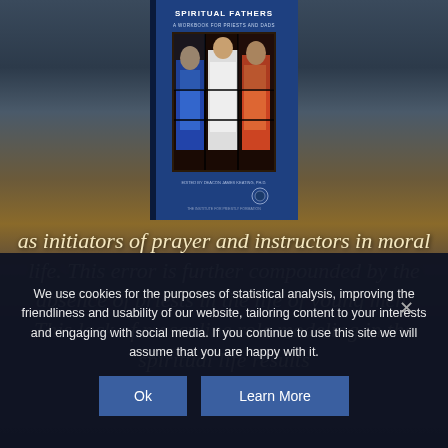[Figure (illustration): Book cover of 'Spiritual Fathers: A Workbook for Priests and Dads' featuring a stained glass illustration, edited by Deacon James Keating Ph.D., published by The Institute for Priestly Formation. Blue cover with religious stained glass imagery.]
as initiators of prayer and instructors in moral life. This error is further compounded by the absence of priests in the life of young men. This lack of masculine role modeling in the spiritual life results
We use cookies for the purposes of statistical analysis, improving the friendliness and usability of our website, tailoring content to your interests and engaging with social media. If you continue to use this site we will assume that you are happy with it.
Ok
Learn More